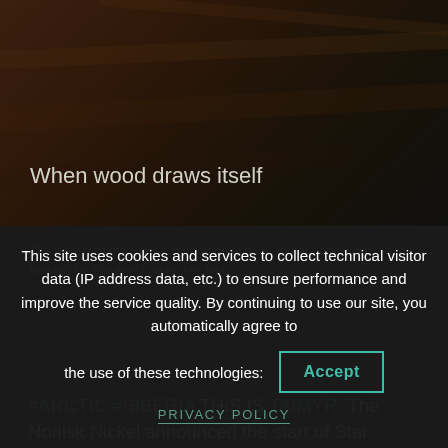[Figure (photo): Dark photo background with brownish/orange tones, partially showing a textured wooden surface or similar natural material]
When wood draws itself
The winner of the Stars Corporation festival, in her hobby, is used to looking for 'the world under her feet'.
#ARCTIC #SIBERIA THIS IS TAIMYR. The Norilsk Nickel announced the start of Star Corporation – the annual festival of creativity for its employees – in March 2020; in the musical and artistic direction and in
This site uses cookies and services to collect technical visitor data (IP address data, etc.) to ensure performance and improve the service quality. By continuing to use our site, you automatically agree to the use of these technologies:
Accept
PRIVACY POLICY